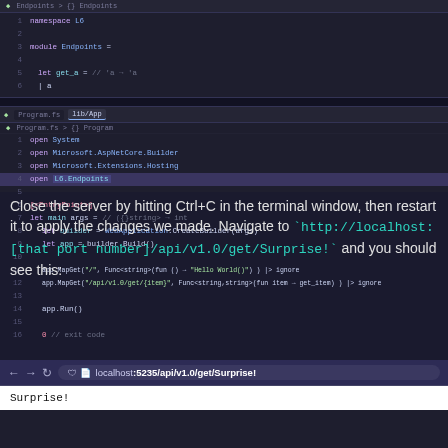[Figure (screenshot): Two code editor panels showing F# code. Top panel: Endpoints module with get_a function. Bottom panel: Program.fs with WebApplication setup, MapGet routes, and app.Run().]
Close the server by hitting Ctrl+C in the terminal window, then restart it to apply the changes we made. Navigate to `http://localhost:[that port number]/api/v1.0/get/Surprise!` and you should see this:
[Figure (screenshot): Browser screenshot showing address bar with localhost:5235/api/v1.0/get/Surprise! and page content showing 'Surprise!']